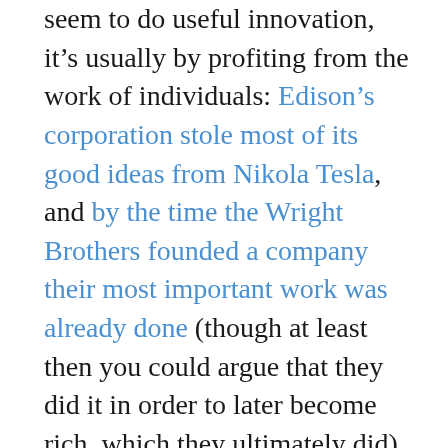seem to do useful innovation, it's usually by profiting from the work of individuals: Edison's corporation stole most of its good ideas from Nikola Tesla, and by the time the Wright Brothers founded a company their most important work was already done (though at least then you could argue that they did it in order to later become rich, which they ultimately did). Universities and nonprofits brought you the laser, light-emitting diodes, fiber optics, penicillin and the polio vaccine. Governments brought you liquid-fuel rockets, the Internet, GPS, and the microchip. Corporations brought you, uh... Viagra, the Snuggie, and Furbies. Indeed, even Google's vaunted search algorithms were originally developed by the NSF. I can think of literally